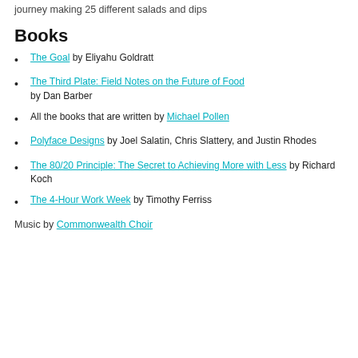journey making 25 different salads and dips
Books
The Goal by Eliyahu Goldratt
The Third Plate: Field Notes on the Future of Food by Dan Barber
All the books that are written by Michael Pollen
Polyface Designs by Joel Salatin, Chris Slattery, and Justin Rhodes
The 80/20 Principle: The Secret to Achieving More with Less by Richard Koch
The 4-Hour Work Week by Timothy Ferriss
Music by Commonwealth Choir